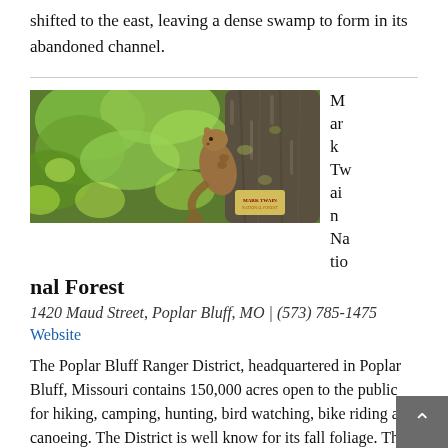shifted to the east, leaving a dense swamp to form in its abandoned channel.
[Figure (photo): A squirrel climbing up a tree trunk in a forest setting with green foliage in the background. Mark Twain National Forest logo visible in lower right corner of image.]
Mark Twain National Forest
1420 Maud Street, Poplar Bluff, MO | (573) 785-1475
Website
The Poplar Bluff Ranger District, headquartered in Poplar Bluff, Missouri contains 150,000 acres open to the public for hiking, camping, hunting, bird watching, bike riding and canoeing. The District is well know for its fall foliage. The Poplar Bluff Ranger District